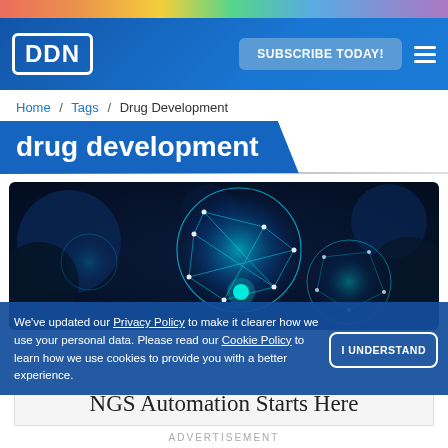[Figure (screenshot): Colorful gradient top strip]
DDN | SUBSCRIBE TODAY!
Home / Tags / Drug Development
drug development
[Figure (photo): Dark blue background with glowing teal network spheres connected by light lines — scientific/biotech imagery]
We've updated our Privacy Policy to make it clearer how we use your personal data. Please read our Cookie Policy to learn how we use cookies to provide you with a better experience.
I UNDERSTAND
NGS Automation Starts Here
ADVERTISEMENT